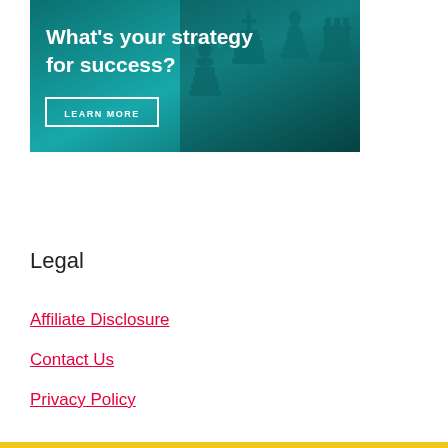[Figure (illustration): Advertisement banner with teal/dark background showing chess pieces, text 'What's your strategy for success?' and a 'LEARN MORE' button]
Legal
Affiliate Disclosure
Contact Us
Privacy Policy